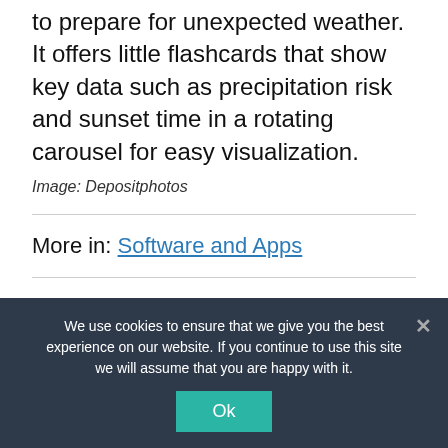to prepare for unexpected weather. It offers little flashcards that show key data such as precipitation risk and sunset time in a rotating carousel for easy visualization.
Image: Depositphotos
More in: Software and Apps
We use cookies to ensure that we give you the best experience on our website. If you continue to use this site we will assume that you are happy with it.